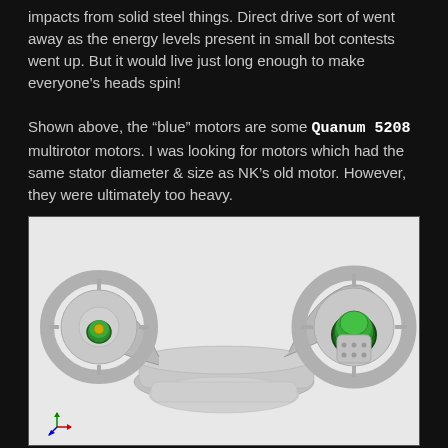impacts from solid steel things. Direct drive sort of went away as the energy levels present in small bot contests went up. But it would live just long enough to make everyone's heads spin!

Shown above, the “blue” motors are some Quanum 5208 multirotor motors. I was looking for motors which had the same stator diameter & size as NK’s old motor. However, they were ultimately too heavy.
[Figure (engineering-diagram): 3D CAD rendering of a combat robot chassis with two circular disc/ring wheel assemblies on arms, showing green motors mounted in the hubs, rendered in grey with a white background. A coordinate axis indicator is visible at the bottom left.]
Stepping down a pay grade (or stator diameter range) were the Multistar 4822s with 40mm stators, and which were nearly 80 grams lighter. It became apparent to me while shopping for